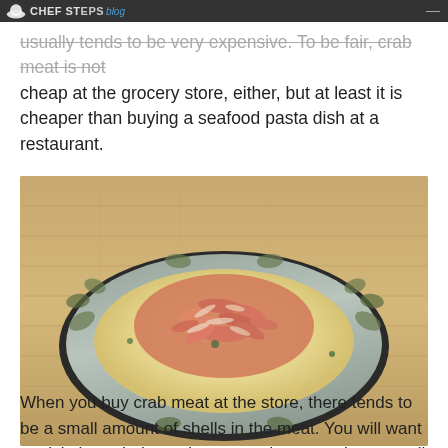Chef Steps blog
...usually tends to be very expensive. To be fair, crab meat is not cheap at the grocery store, either, but at least it is cheaper than buying a seafood pasta dish at a restaurant.
[Figure (photo): A decorative bowl with a leaf pattern containing spaghetti topped with shredded crab meat and vegetables, placed on a bamboo mat surface.]
When you buy crab meat at the store, there tends to be a small amount of shells in the meat. You will want to pick through the crab meat and remove these small shells, since it is quite unpleasant to